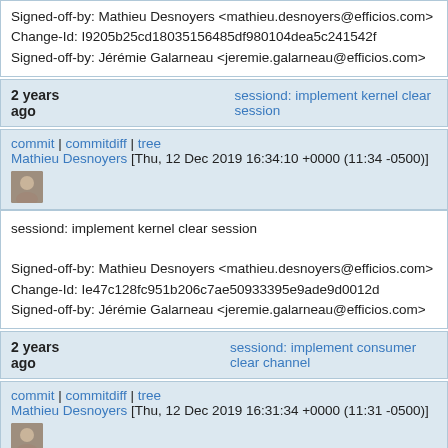Signed-off-by: Mathieu Desnoyers <mathieu.desnoyers@efficios.com>
Change-Id: I9205b25cd18035156485df980104dea5c241542f
Signed-off-by: Jérémie Galarneau <jeremie.galarneau@efficios.com>
2 years ago	sessiond: implement kernel clear session
commit | commitdiff | tree
Mathieu Desnoyers [Thu, 12 Dec 2019 16:34:10 +0000 (11:34 -0500)]
sessiond: implement kernel clear session

Signed-off-by: Mathieu Desnoyers <mathieu.desnoyers@efficios.com>
Change-Id: Ie47c128fc951b206c7ae50933395e9ade9d0012d
Signed-off-by: Jérémie Galarneau <jeremie.galarneau@efficios.com>
2 years ago	sessiond: implement consumer clear channel
commit | commitdiff | tree
Mathieu Desnoyers [Thu, 12 Dec 2019 16:31:34 +0000 (11:31 -0500)]
sessiond: implement consumer clear channel